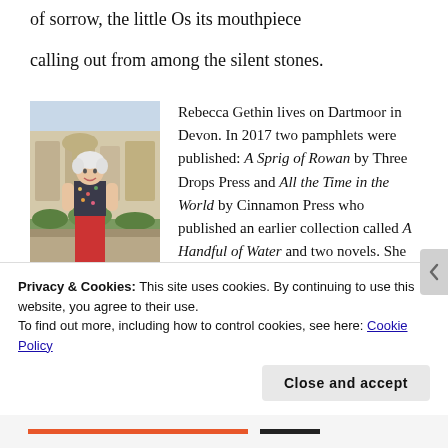of sorrow, the little Os its mouthpiece
calling out from among the silent stones.
[Figure (photo): Photo of Rebecca Gethin, a woman with short white hair wearing a floral top and red trousers, standing on a stone balcony with an ornate building and gardens in the background.]
Rebecca Gethin lives on Dartmoor in Devon. In 2017 two pamphlets were published: A Sprig of Rowan by Three Drops Press and All the Time in the World by Cinnamon Press who published an earlier collection called A Handful of Water and two novels. She has been a Hawthornden
Privacy & Cookies: This site uses cookies. By continuing to use this website, you agree to their use.
To find out more, including how to control cookies, see here: Cookie Policy
Close and accept